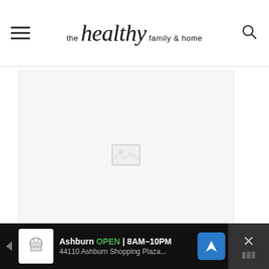the healthy family & home
[Figure (photo): Large placeholder image area, mostly white/light gray with faint image loading indicator in the center]
Ingredients
[Figure (other): Advertisement bar at bottom: Ashburn OPEN 8AM-10PM, 44110 Ashburn Shopping Plaza...]